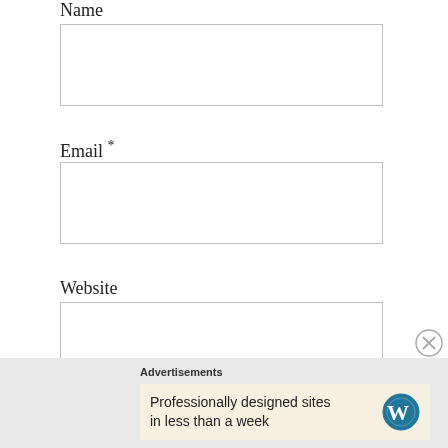Name
Email *
Website
Save my name, email, and website in this browser for the next time I comment.
Advertisements
Professionally designed sites in less than a week